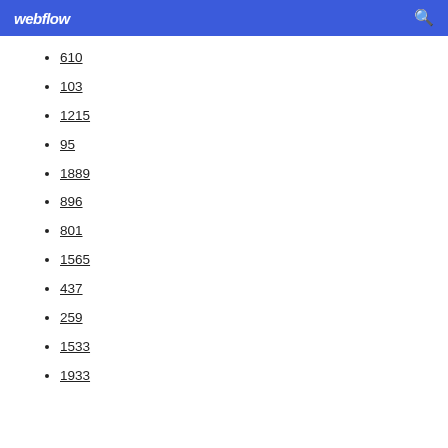webflow
610
103
1215
95
1889
896
801
1565
437
259
1533
1933